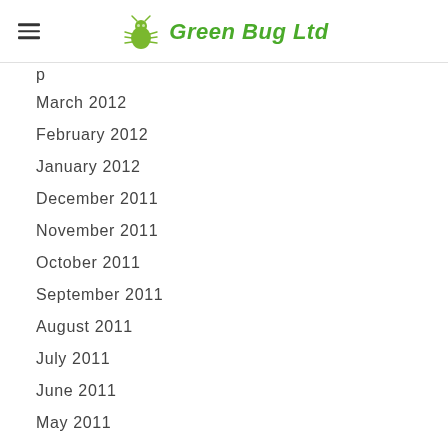Green Bug Ltd
March 2012
February 2012
January 2012
December 2011
November 2011
October 2011
September 2011
August 2011
July 2011
June 2011
May 2011
April 2011